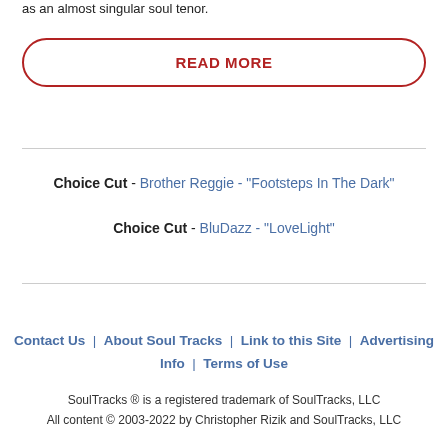as an almost singular soul tenor.
READ MORE
Choice Cut - Brother Reggie - "Footsteps In The Dark"
Choice Cut - BluDazz - "LoveLight"
Contact Us | About Soul Tracks | Link to this Site | Advertising Info | Terms of Use
SoulTracks ® is a registered trademark of SoulTracks, LLC
All content © 2003-2022 by Christopher Rizik and SoulTracks, LLC